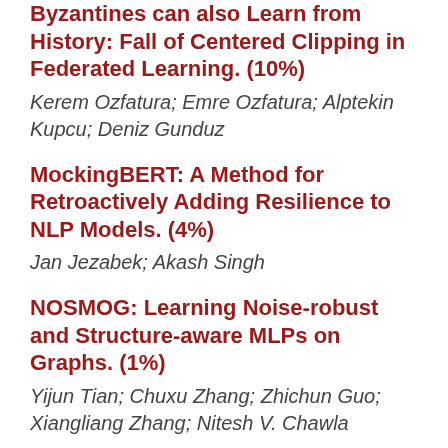Byzantines can also Learn from History: Fall of Centered Clipping in Federated Learning. (10%)
Kerem Ozfatura; Emre Ozfatura; Alptekin Kupcu; Deniz Gunduz
MockingBERT: A Method for Retroactively Adding Resilience to NLP Models. (4%)
Jan Jezabek; Akash Singh
NOSMOG: Learning Noise-robust and Structure-aware MLPs on Graphs. (1%)
Yijun Tian; Chuxu Zhang; Zhichun Guo; Xiangliang Zhang; Nitesh V. Chawla
A Unified Analysis of Mixed Sample Data Augmentation: A Loss Function Perspective